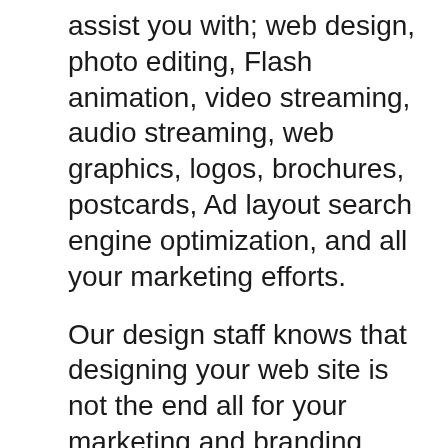assist you with; web design, photo editing, Flash animation, video streaming, audio streaming, web graphics, logos, brochures, postcards, Ad layout search engine optimization, and all your marketing efforts.
Our design staff knows that designing your web site is not the end all for your marketing and branding efforts. We strive to fine tune all your campaigns so that they will be unified into one harmonious effort, with A1A Web Design you will achieve an overall